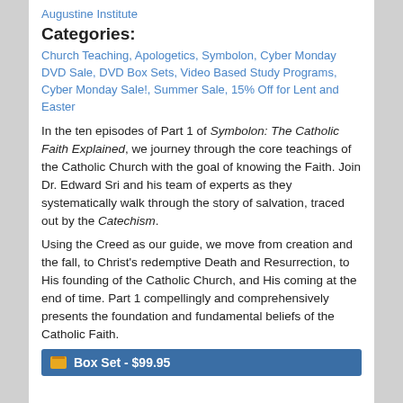Augustine Institute
Categories:
Church Teaching, Apologetics, Symbolon, Cyber Monday DVD Sale, DVD Box Sets, Video Based Study Programs, Cyber Monday Sale!, Summer Sale, 15% Off for Lent and Easter
In the ten episodes of Part 1 of Symbolon: The Catholic Faith Explained, we journey through the core teachings of the Catholic Church with the goal of knowing the Faith. Join Dr. Edward Sri and his team of experts as they systematically walk through the story of salvation, traced out by the Catechism.
Using the Creed as our guide, we move from creation and the fall, to Christ's redemptive Death and Resurrection, to His founding of the Catholic Church, and His coming at the end of time. Part 1 compellingly and comprehensively presents the foundation and fundamental beliefs of the Catholic Faith.
Box Set - $99.95